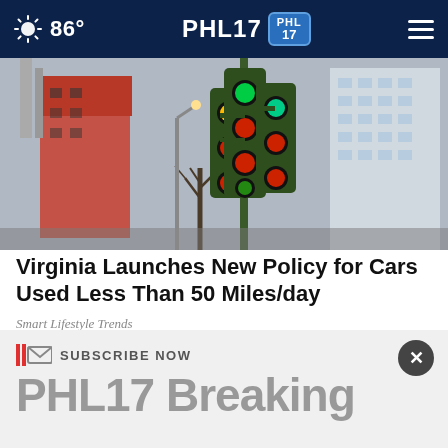86° PHL17
[Figure (photo): Multiple green traffic lights on a pole cluster with city buildings in background]
Virginia Launches New Policy for Cars Used Less Than 50 Miles/day
Smart Lifestyle Trends
SUBSCRIBE NOW
PHL17 Breaking